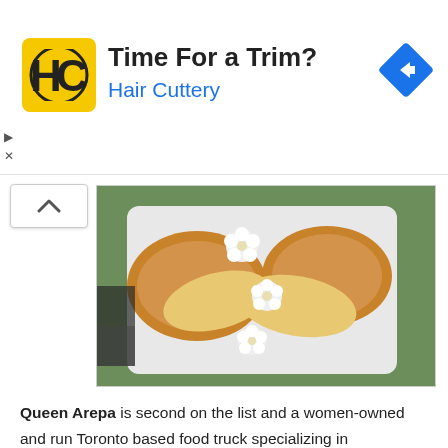[Figure (advertisement): Hair Cuttery advertisement banner with yellow logo showing HC initials, text 'Time For a Trim?' and 'Hair Cuttery' in blue, and a blue diamond navigation arrow icon on the right. Small play and X icons on left margin.]
[Figure (photo): Overhead photo of Venezuelan arepas and cachapas on a white plate, decorated with white chrysanthemum flowers, on a green grass background.]
Queen Arepa is second on the list and a women-owned and run Toronto based food truck specializing in Venezuelan arepas and cachapas. Arepas are warm savoury bread pockets made from ground corn flour while Cachapas are sweetcorn crepes made with fresh yellow corn.